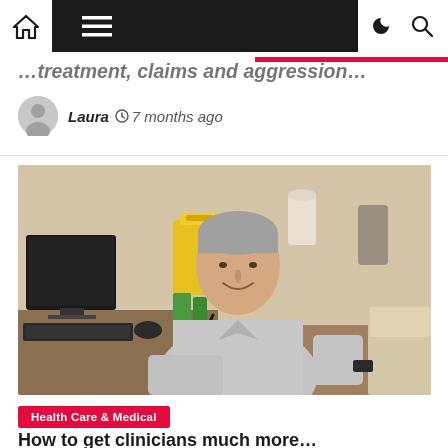Navigation bar with home, menu, dark mode, and search icons
…treatment, claims and aggression…
Laura  ⏱ 7 months ago
[Figure (photo): An elderly male doctor with grey hair, wearing a light grey dress shirt with a stethoscope around his neck, sitting at a desk in a medical examination room. A computer monitor and keyboard are visible to the left, a yellow sharps container is in the background, and an examination table is to the right.]
Health Care & Medical
How to get clinicians much more…